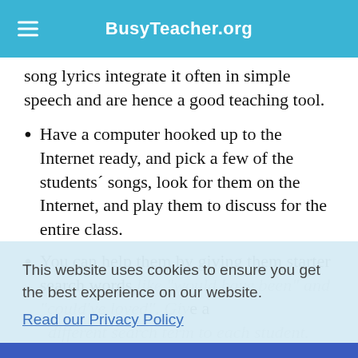BusyTeacher.org
song lyrics integrate it often in simple speech and are hence a good teaching tool.
Have a computer hooked up to the Internet ready, and pick a few of the students´ songs, look for them on the Internet, and play them to discuss for the entire class.
You can help them by giving them starter search words like "would have been" and "could've loved". Give a different search term to each student.
This website uses cookies to ensure you get the best experience on our website.
Read our Privacy Policy
Accept!
This lyric is used in a plentitude of pop songs and is perfect for teaching first conditional tense while simultaneously ingraining a commonly used English idiom! Favorites include: